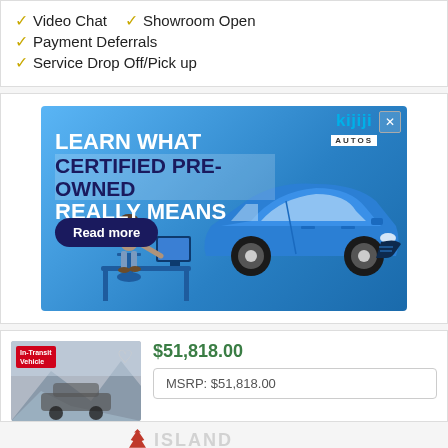✓ Video Chat  ✓ Showroom Open  ✓ Payment Deferrals
✓ Service Drop Off/Pick up
[Figure (illustration): Kijiji Autos advertisement banner with blue background showing a blue Mazda 3 hatchback car, a person sitting at a desk with a laptop, and text 'LEARN WHAT CERTIFIED PRE-OWNED REALLY MEANS' with a 'Read more' button and Kijiji Autos logo.]
$51,818.00
MSRP: $51,818.00